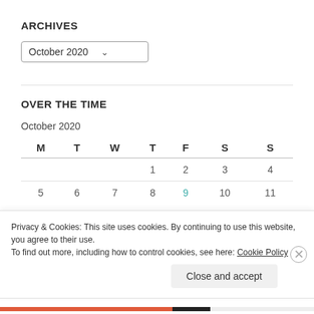ARCHIVES
October 2020
OVER THE TIME
October 2020
| M | T | W | T | F | S | S |
| --- | --- | --- | --- | --- | --- | --- |
|  |  |  | 1 | 2 | 3 | 4 |
| 5 | 6 | 7 | 8 | 9 | 10 | 11 |
Privacy & Cookies: This site uses cookies. By continuing to use this website, you agree to their use.
To find out more, including how to control cookies, see here: Cookie Policy
Close and accept